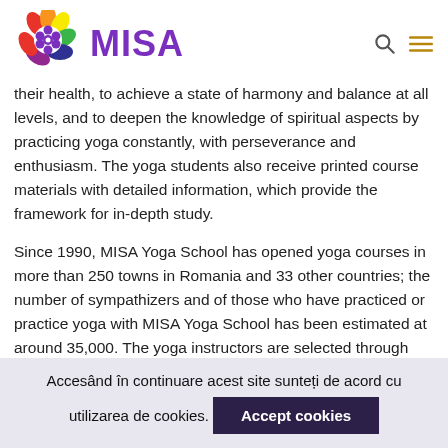[Figure (logo): MISA logo with colorful flower icon and purple MISA text]
their health, to achieve a state of harmony and balance at all levels, and to deepen the knowledge of spiritual aspects by practicing yoga constantly, with perseverance and enthusiasm. The yoga students also receive printed course materials with detailed information, which provide the framework for in-depth study.
Since 1990, MISA Yoga School has opened yoga courses in more than 250 towns in Romania and 33 other countries; the number of sympathizers and of those who have practiced or practice yoga with MISA Yoga School has been estimated at around 35,000. The yoga instructors are selected through theoretical and practical exams, and undergo a special training.
In addition to the weekly yoga classes, several other
Accesând în continuare acest site sunteți de acord cu utilizarea de cookies.
Accept cookies